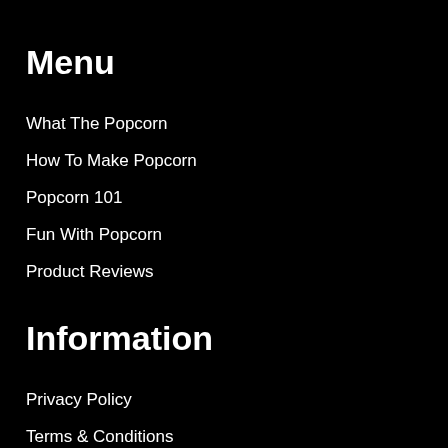Menu
What The Popcorn
How To Make Popcorn
Popcorn 101
Fun With Popcorn
Product Reviews
Information
Privacy Policy
Terms & Conditions
About Michelle Louise
About What The Popcorn
Contact
Sitemap